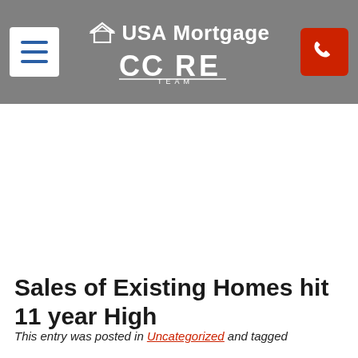[Figure (logo): USA Mortgage CORE Team logo with hamburger menu button on the left and phone button on the right, on a gray header bar]
Sales of Existing Homes hit 11 year High
This entry was posted in Uncategorized and tagged